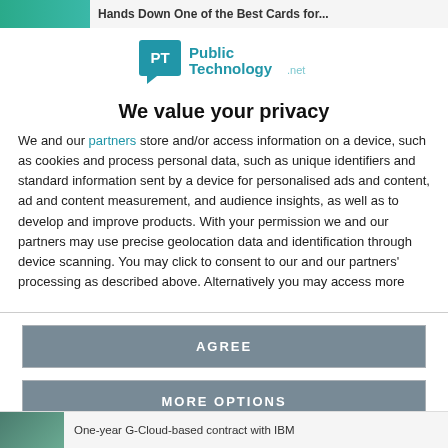Hands Down One of the Best Cards for...
[Figure (logo): PublicTechnology.net logo with PT badge]
We value your privacy
We and our partners store and/or access information on a device, such as cookies and process personal data, such as unique identifiers and standard information sent by a device for personalised ads and content, ad and content measurement, and audience insights, as well as to develop and improve products. With your permission we and our partners may use precise geolocation data and identification through device scanning. You may click to consent to our and our partners' processing as described above. Alternatively you may access more
AGREE
MORE OPTIONS
One-year G-Cloud-based contract with IBM